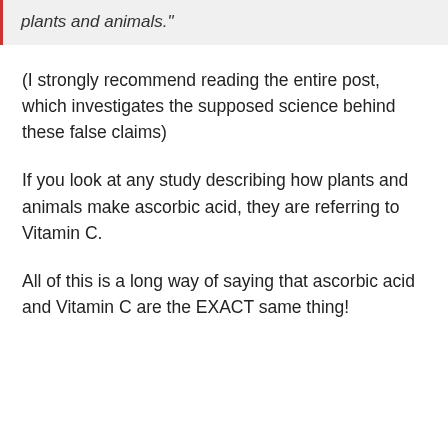plants and animals."
(I strongly recommend reading the entire post, which investigates the supposed science behind these false claims)
If you look at any study describing how plants and animals make ascorbic acid, they are referring to Vitamin C.
All of this is a long way of saying that ascorbic acid and Vitamin C are the EXACT same thing!